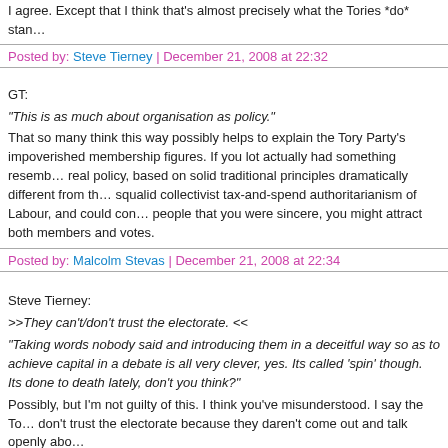I agree. Except that I think that's almost precisely what the Tories *do* stand for...
Posted by: Steve Tierney | December 21, 2008 at 22:32
GT:
"This is as much about organisation as policy."
That so many think this way possibly helps to explain the Tory Party's impoverished membership figures. If you lot actually had something resembling real policy, based on solid traditional principles dramatically different from the squalid collectivist tax-and-spend authoritarianism of Labour, and could convince people that you were sincere, you might attract both members and votes.
Posted by: Malcolm Stevas | December 21, 2008 at 22:34
Steve Tierney:
>>They can't/don't trust the electorate. <<
"Taking words nobody said and introducing them in a deceitful way so as to achieve capital in a debate is all very clever, yes. Its called 'spin' though. Its done to death lately, don't you think?"
Possibly, but I'm not guilty of this. I think you've misunderstood. I say the Tories don't trust the electorate because they daren't come out and talk openly about...